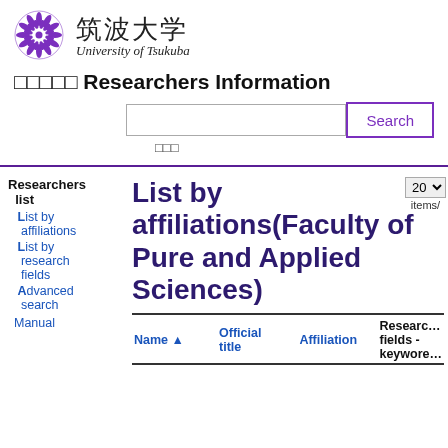[Figure (logo): University of Tsukuba crest logo in purple]
筑波大学 University of Tsukuba
□□□□□ Researchers Information
Search [input field] [Search button]
□□□
List by affiliations(Faculty of Pure and Applied Sciences)
Researchers list
List by affiliations
List by research fields
Advanced search
Manual
| Name ▲ | Official title | Affiliation | Research fields - keywords |
| --- | --- | --- | --- |